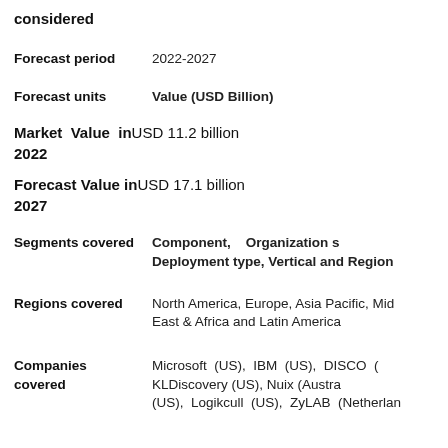considered
Forecast period   2022-2027
Forecast units   Value (USD Billion)
Market Value in USD 11.2 billion 2022
Forecast Value in USD 17.1 billion 2027
Segments covered   Component, Organization size, Deployment type, Vertical and Region
Regions covered   North America, Europe, Asia Pacific, Middle East & Africa and Latin America
Companies covered   Microsoft (US), IBM (US), DISCO (US), KLDiscovery (US), Nuix (Australia), Relativity (US), Logikcull (US), ZyLAB (Netherlands)